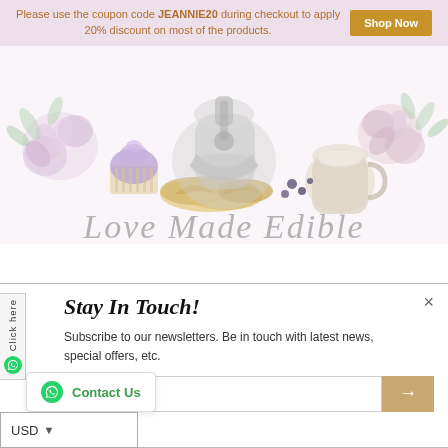Please use the coupon code JEANNIE20 during checkout to apply 20% discount on most of the products.
Shop Now
[Figure (illustration): Decorative banner illustration with kitchen mixer, cupcakes, croissants, coffee cup, flowers in pastel pink and purple watercolor style with script text 'Love Made Edible']
Stay In Touch!
Subscribe to our newsletters. Be in touch with latest news, special offers, etc.
your email
Contact Us
Click here
USD